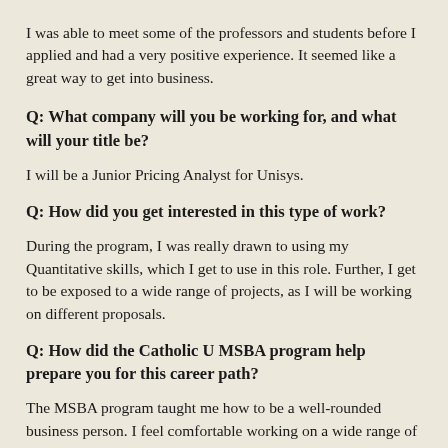I was able to meet some of the professors and students before I applied and had a very positive experience. It seemed like a great way to get into business.
Q: What company will you be working for, and what will your title be?
I will be a Junior Pricing Analyst for Unisys.
Q: How did you get interested in this type of work?
During the program, I was really drawn to using my Quantitative skills, which I get to use in this role. Further, I get to be exposed to a wide range of projects, as I will be working on different proposals.
Q: How did the Catholic U MSBA program help prepare you for this career path?
The MSBA program taught me how to be a well-rounded business person. I feel comfortable working on a wide range of problems,